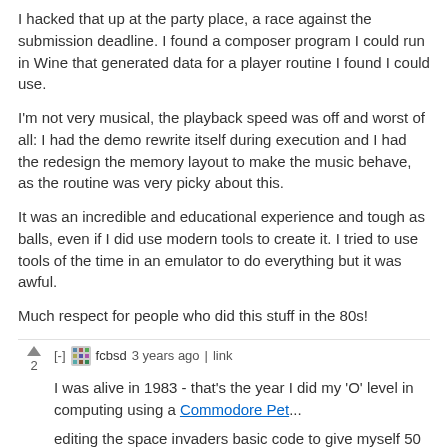I hacked that up at the party place, a race against the submission deadline. I found a composer program I could run in Wine that generated data for a player routine I found I could use.
I'm not very musical, the playback speed was off and worst of all: I had the demo rewrite itself during execution and I had the redesign the memory layout to make the music behave, as the routine was very picky about this.
It was an incredible and educational experience and tough as balls, even if I did use modern tools to create it. I tried to use tools of the time in an emulator to do everything but it was awful.
Much respect for people who did this stuff in the 80s!
[-] fcbsd 3 years ago | link
I was alive in 1983 - that's the year I did my 'O' level in computing using a Commodore Pet...
editing the space invaders basic code to give myself 50 lives :~)
[-] Hail_Spacecake 3 years ago | link
I'm also too young to have nostalgia for the 8-bit computer era,